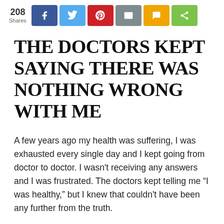[Figure (other): Social share bar with 208 shares count and buttons for Facebook, Twitter, Pinterest, Email, SMS, and generic share]
THE DOCTORS KEPT SAYING THERE WAS NOTHING WRONG WITH ME
A few years ago my health was suffering, I was exhausted every single day and I kept going from doctor to doctor. I wasn't receiving any answers and I was frustrated. The doctors kept telling me “I was healthy,” but I knew that couldn't have been any further from the truth.
I started seeking other opinions and started going down